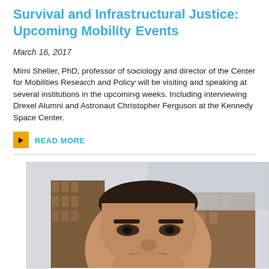Survival and Infrastructural Justice: Upcoming Mobility Events
March 16, 2017
Mimi Sheller, PhD, professor of sociology and director of the Center for Mobilities Research and Policy will be visiting and speaking at several institutions in the upcoming weeks. Including interviewing Drexel Alumni and Astronaut Christopher Ferguson at the Kennedy Space Center.
READ MORE
[Figure (photo): Close-up photo of an Asian man outdoors with a historic brick building in the background]